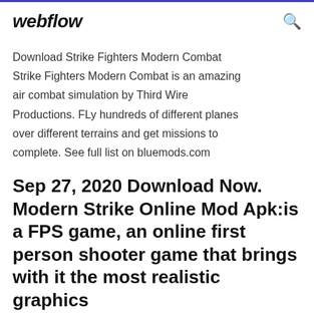webflow
Download Strike Fighters Modern Combat Strike Fighters Modern Combat is an amazing air combat simulation by Third Wire Productions. FLy hundreds of different planes over different terrains and get missions to complete. See full list on bluemods.com
Sep 27, 2020 Download Now. Modern Strike Online Mod Apk:is a FPS game, an online first person shooter game that brings with it the most realistic graphics